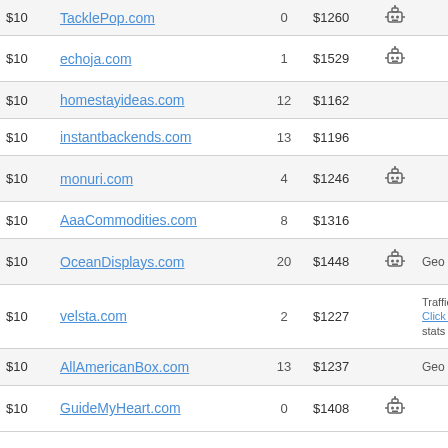| Price | Domain | Bids | Est. Value | Icon | Extra |
| --- | --- | --- | --- | --- | --- |
| $10 | TacklePop.com | 0 | $1260 | robot |  |
| $10 | echoja.com | 1 | $1529 | robot |  |
| $10 | homestayideas.com | 12 | $1162 |  |  |
| $10 | instantbackends.com | 13 | $1196 |  |  |
| $10 | monuri.com | 4 | $1246 | robot |  |
| $10 | AaaCommodities.com | 8 | $1316 |  |  |
| $10 | OceanDisplays.com | 20 | $1448 | robot | Geo |
| $10 | velsta.com | 2 | $1227 |  | Traffic:
Click he...
stats |
| $10 | AllAmericanBox.com | 13 | $1237 |  | Geo |
| $10 | GuideMyHeart.com | 0 | $1408 | robot |  |